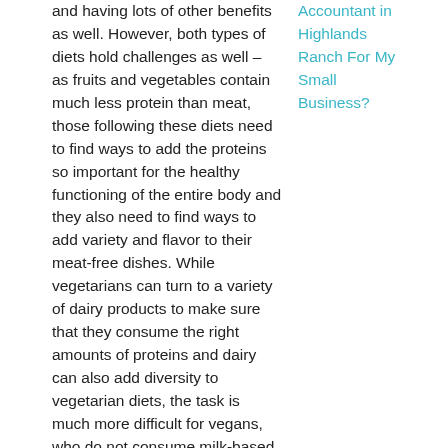and having lots of other benefits as well. However, both types of diets hold challenges as well – as fruits and vegetables contain much less protein than meat, those following these diets need to find ways to add the proteins so important for the healthy functioning of the entire body and they also need to find ways to add variety and flavor to their meat-free dishes. While vegetarians can turn to a variety of dairy products to make sure that they consume the right amounts of proteins and dairy can also add diversity to vegetarian diets, the task is much more difficult for vegans, who do not consume milk-based products. Fortunately, according to a great lab company that sells magic mushroom spores, there are many great, creative ways to make meat-free
Accountant in Highlands Ranch For My Small Business?